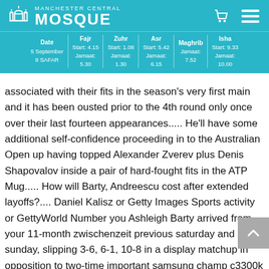Manchester Central Mosque
Date 5 September 8 SAFAR | Fajr Start: 4.15 Jamaat: 5.30 | Zuhr Start: 1.08 Jamaat: 1.30 | Asr Start: 5.42 Jamaat: 6.15 | Maghrib Jamaat: 7.52 | Isha Start: 9.33 Jamaat: 10.00
associated with their fits in the season's very first main and it has been ousted prior to the 4th round only once over their last fourteen appearances..... He'll have some additional self-confidence proceeding in to the Australian Open up having topped Alexander Zverev plus Denis Shapovalov inside a pair of hard-fought fits in the ATP Mug..... How will Barty, Andreescu cost after extended layoffs?.... Daniel Kalisz or Getty Images Sports activity or GettyWorld Number you Ashleigh Barty arrived from your 11-month zwischenzeit previous saturday and sunday, slipping 3-6, 6-1, 10-8 in a display matchup in opposition to two-time important samsung champ c3300k Simona Halep..... Typically the 24-year-old taken part with the Qatar Start